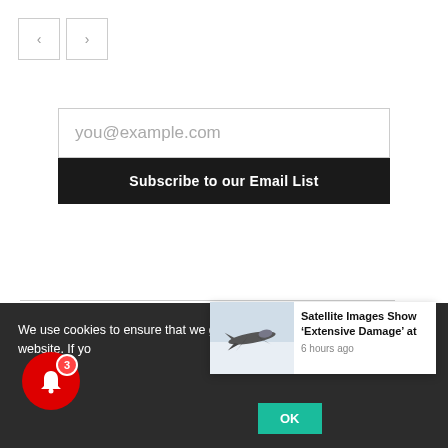[Figure (screenshot): Two navigation arrow buttons (left and right) with gray borders on white background]
you@example.com
Subscribe to our Email List
We use cookies to ensure that we give you the best experience on our website. If yo
[Figure (screenshot): News popup card showing a military jet aircraft with headline 'Satellite Images Show ‘Extensive Damage’ at' and timestamp '6 hours ago']
OK
[Figure (other): Red circular notification bell icon with badge showing number 3]